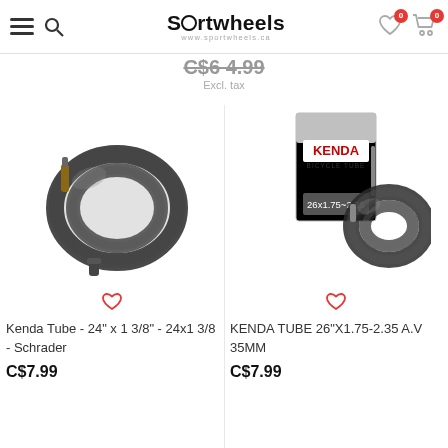Sportwheels — navigation header with menu, search, logo, wishlist (0) and cart (0)
C$6 4.99
Excl. tax
[Figure (photo): Kenda bicycle inner tube coiled, with Schrader valve cap visible, product photo on white background]
[Figure (photo): KENDA bicycle tube 26"x1.75-2.35 A.V 35MM in box with tube coiled beside it, product photo on white background]
Kenda Tube - 24" x 1 3/8" - 24x1 3/8 - Schrader
C$7.99
KENDA TUBE 26"X1.75-2.35 A.V 35MM
C$7.99